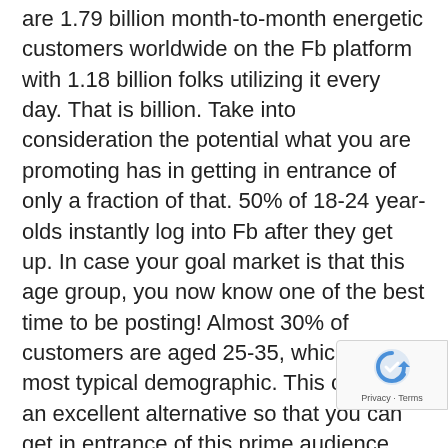are 1.79 billion month-to-month energetic customers worldwide on the Fb platform with 1.18 billion folks utilizing it every day. That is billion. Take into consideration the potential what you are promoting has in getting in entrance of only a fraction of that. 50% of 18-24 year-olds instantly log into Fb after they get up. In case your goal market is that this age group, you now know one of the best time to be posting! Almost 30% of customers are aged 25-35, which is the most typical demographic. This creates an excellent alternative so that you can get in entrance of this prime audience and increase your model attain greater than every other advertising technique can accomplish with out having to pay a number of 1000's of {dollars} to take action. The typical time a consumer spends on Fb every day is 20+ minutes. That is loads of time to get your value-rich content material in entrance of them! There's a mean of over eight billion views on Fb day-after-day. Because of this incorporating